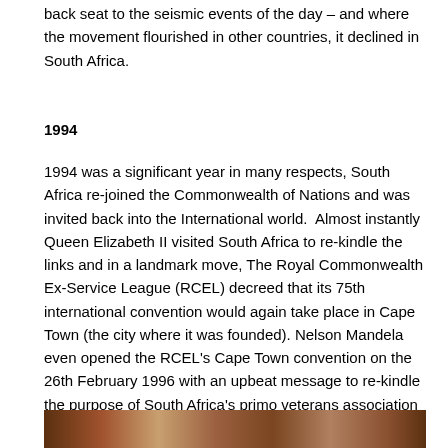back seat to the seismic events of the day – and where the movement flourished in other countries, it declined in South Africa.
1994
1994 was a significant year in many respects, South Africa re-joined the Commonwealth of Nations and was invited back into the International world.  Almost instantly Queen Elizabeth II visited South Africa to re-kindle the links and in a landmark move, The Royal Commonwealth Ex-Service League (RCEL) decreed that its 75th international convention would again take place in Cape Town (the city where it was founded). Nelson Mandela even opened the RCEL's Cape Town convention on the 26th February 1996 with an upbeat message to re-kindle the purpose of South Africa's primo veterans association – The South African Legion (a founding member of the RCEL) and re-establish South Africa's place in the international veterans community (for more of this history see Observation Post Legions and Poppies … and their South African root).
[Figure (photo): A horizontal image strip showing a photograph, partially visible at the bottom of the page.]